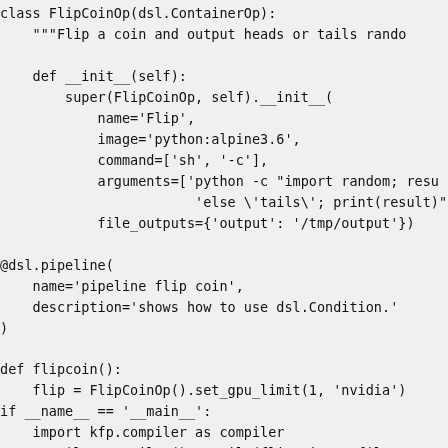class FlipCoinOp(dsl.ContainerOp):
    """Flip a coin and output heads or tails rando

    def __init__(self):
        super(FlipCoinOp, self).__init__(
            name='Flip',
            image='python:alpine3.6',
            command=['sh', '-c'],
            arguments=['python -c "import random; resu
                        'else \'tails\'; print(result)"
            file_outputs={'output': '/tmp/output'})

@dsl.pipeline(
    name='pipeline flip coin',
    description='shows how to use dsl.Condition.'
)

def flipcoin():
    flip = FlipCoinOp().set_gpu_limit(1, 'nvidia')
if __name__ == '__main__':
    import kfp.compiler as compiler
    compiler.Compiler().compile(flipcoin, __file_